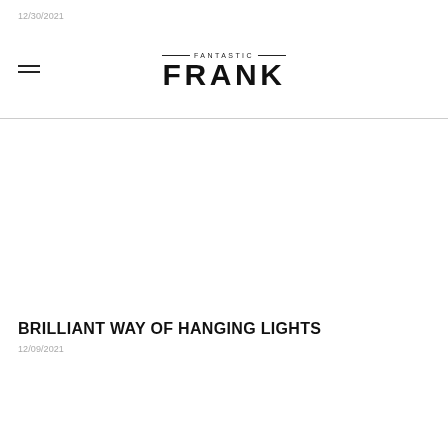12/30/2021
[Figure (logo): Fantastic Frank logo with hamburger menu icon on the left, horizontal lines above and below FANTASTIC text, and large bold FRANK text below]
BRILLIANT WAY OF HANGING LIGHTS
12/09/2021